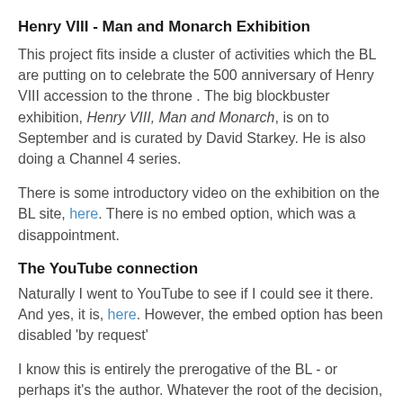Henry VIII - Man and Monarch Exhibition
This project fits inside a cluster of activities which the BL are putting on to celebrate the 500 anniversary of Henry VIII accession to the throne . The big blockbuster exhibition, Henry VIII, Man and Monarch, is on to September and is curated by David Starkey. He is also doing a Channel 4 series.
There is some introductory video on the exhibition on the BL site, here. There is no embed option, which was a disappointment.
The YouTube connection
Naturally I went to YouTube to see if I could see it there. And yes, it is, here. However, the embed option has been disabled 'by request'
I know this is entirely the prerogative of the BL - or perhaps it's the author. Whatever the root of the decision, I can't help but think it 's a bad one. Why put it on YouTube if you are not prepared to share. A bit like going to Glastonbury and refusing to pass the duchy.